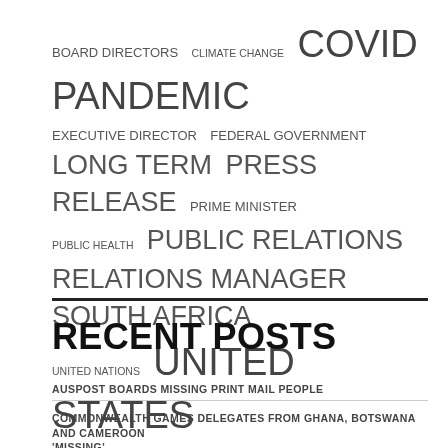[Figure (other): Word cloud of terms including BOARD DIRECTORS, CLIMATE CHANGE, COVID PANDEMIC, EXECUTIVE DIRECTOR, FEDERAL GOVERNMENT, LONG TERM, PRESS RELEASE, PRIME MINISTER, PUBLIC HEALTH, PUBLIC RELATIONS, RELATIONS MANAGER, SOUTH AFRICA, UNITED NATIONS, UNITED STATES, VICE PRESIDENT in varying font sizes]
RECENT POSTS
AUSPOST BOARDS MISSING PRINT MAIL PEOPLE
COMMONWEALTH GAMES DELEGATES FROM GHANA, BOTSWANA AND CAMEROON 'MISSING'